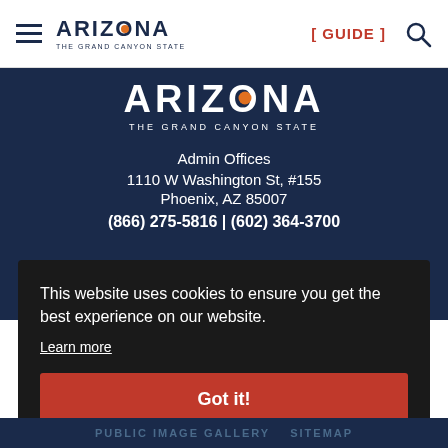ARIZONA THE GRAND CANYON STATE | [ GUIDE ] [search icon]
[Figure (logo): Arizona The Grand Canyon State logo with orange dot in O, white text on dark blue background]
Admin Offices
1110 W Washington St, #155
Phoenix, AZ 85007
(866) 275-5816 | (602) 364-3700
This website uses cookies to ensure you get the best experience on our website.
Learn more
Got it!
PUBLIC IMAGE GALLERY  SITEMAP